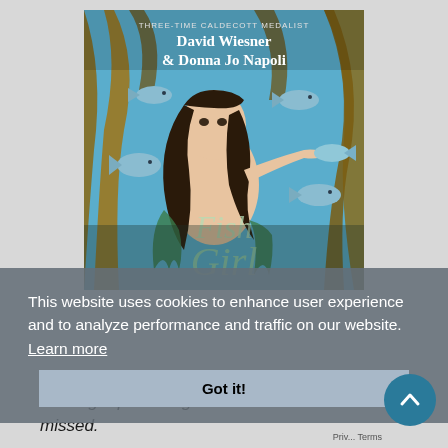[Figure (illustration): Book cover for 'Fish Girl' by David Wiesner and Donna Jo Napoli. Labeled 'Three-Time Caldecott Medalist' at the top. Shows an illustration of a mermaid girl with long dark hair surrounded by fish and underwater plants on a blue-green background. The title 'Fish Girl' appears at the bottom of the cover in large stylized text.]
This website uses cookies to enhance user experience and to analyze performance and traffic on our website. Learn more
Got it!
A thought-provoking work that is not to be missed.